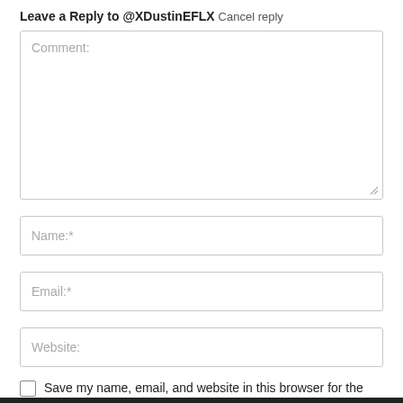Leave a Reply to @XDustinEFLX  Cancel reply
[Figure (screenshot): Comment text area input field with placeholder text 'Comment:']
[Figure (screenshot): Name input field with placeholder text 'Name:*']
[Figure (screenshot): Email input field with placeholder text 'Email:*']
[Figure (screenshot): Website input field with placeholder text 'Website:']
Save my name, email, and website in this browser for the next time I comment.